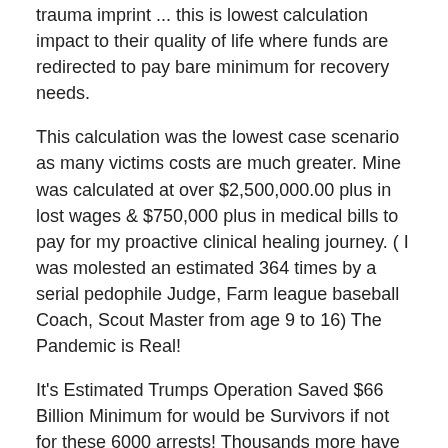trauma imprint ... this is lowest calculation impact to their quality of life where funds are redirected to pay bare minimum for recovery needs.
This calculation was the lowest case scenario as many victims costs are much greater. Mine was calculated at over $2,500,000.00 plus in lost wages & $750,000 plus in medical bills to pay for my proactive clinical healing journey. ( I was molested an estimated 364 times by a serial pedophile Judge, Farm league baseball Coach, Scout Master from age 9 to 16) The Pandemic is Real!
It's Estimated Trumps Operation Saved $66 Billion Minimum for would be Survivors if not for these 6000 arrests! Thousands more have been arrested since this calculation and part of an unending future policy under the Trump Administration. ( By September 2018 the